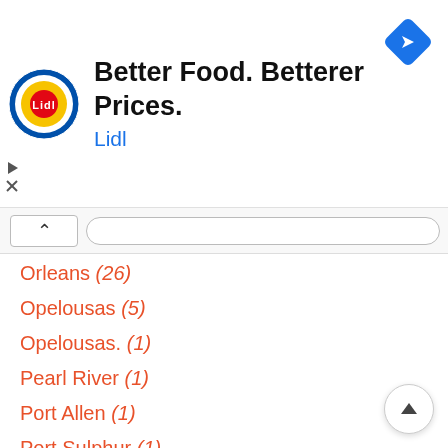[Figure (logo): Lidl advertisement banner with Lidl circular logo, bold headline 'Better Food. Betterer Prices.' and blue brand name 'Lidl', with a blue diamond navigation icon in the top right]
Orleans (26)
Opelousas (5)
Opelousas. (1)
Pearl River (1)
Port Allen (1)
Port Sulphur (1)
Prairieville (1)
Raceland (3)
Ragley (1)